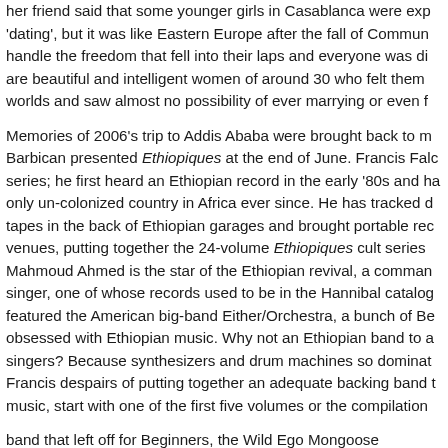Her friend said that some younger girls in Casablanca were experimenting with 'dating', but it was like Eastern Europe after the fall of Communism: unable to handle the freedom that fell into their laps and everyone was disoriented. There are beautiful and intelligent women of around 30 who felt themselves between two worlds and saw almost no possibility of ever marrying or even finding a partner.
Memories of 2006's trip to Addis Ababa were brought back to mind when the Barbican presented Ethiopiques at the end of June. Francis Falceto curates the series; he first heard an Ethiopian record in the early '80s and has been fascinated by the only un-colonized country in Africa ever since. He has tracked down deteriorating tapes in the back of Ethiopian garages and brought portable recording equipment to venues, putting together the 24-volume Ethiopiques cult series. Mahmoud Ahmed is the star of the Ethiopian revival, a commanding and charismatic singer, one of whose records used to be in the Hannibal catalogue. The evening featured the American big-band Either/Orchestra, a bunch of Berklee graduates obsessed with Ethiopian music. Why not an Ethiopian band to accompany the singers? Because synthesizers and drum machines so dominate Ethiopian pop that Francis despairs of putting together an adequate backing band there. To explore this music, start with one of the first five volumes or the compilation
band that left off for Beginners, the Wild Ego Mongoose...